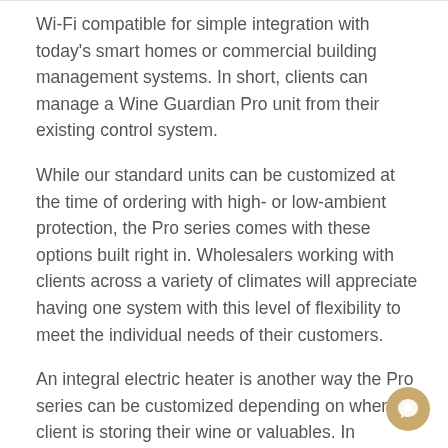Wi-Fi compatible for simple integration with today's smart homes or commercial building management systems. In short, clients can manage a Wine Guardian Pro unit from their existing control system.
While our standard units can be customized at the time of ordering with high- or low-ambient protection, the Pro series comes with these options built right in. Wholesalers working with clients across a variety of climates will appreciate having one system with this level of flexibility to meet the individual needs of their customers.
An integral electric heater is another way the Pro series can be customized depending on where a client is storing their wine or valuables. In addition, the Pro series is robust enough to accommodate the retrofitting of a humidifier should a customer's needs change after purchase. Lastly, the Pro Split series can accommodate extremely low